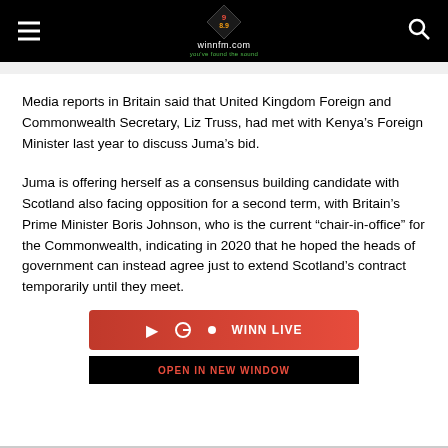winnfm.com
Media reports in Britain said that United Kingdom Foreign and Commonwealth Secretary, Liz Truss, had met with Kenya’s Foreign Minister last year to discuss Juma’s bid.
Juma is offering herself as a consensus building candidate with Scotland also facing opposition for a second term, with Britain’s Prime Minister Boris Johnson, who is the current “chair-in-office” for the Commonwealth, indicating in 2020 that he hoped the heads of government can instead agree just to extend Scotland’s contract temporarily until they meet.
[Figure (other): WINN FM radio live player bar with play button, volume icon, red dot, WINN LIVE text, and OPEN IN NEW WINDOW link below]